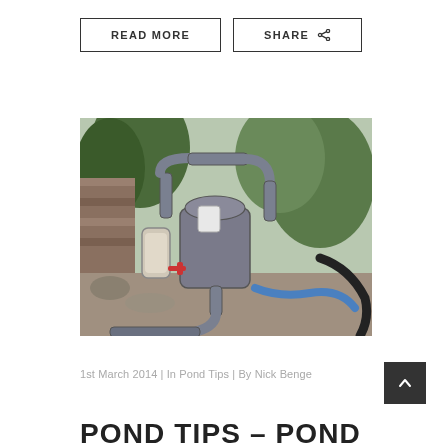READ MORE
SHARE
[Figure (photo): Outdoor pond pump and filter equipment setup with grey PVC pipes, filter canisters, and hoses including a blue hose, set against stones and garden greenery.]
1st March 2014 | In Pond Tips | By Nick Benge
POND TIPS – POND